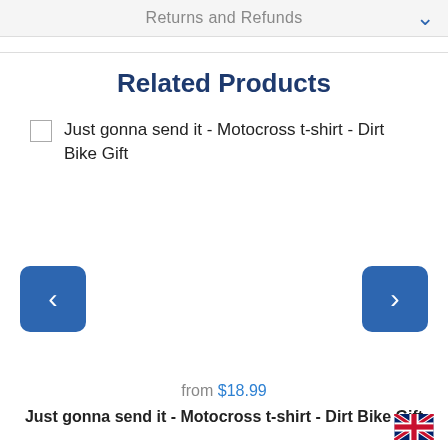Returns and Refunds
Related Products
Just gonna send it - Motocross t-shirt - Dirt Bike Gift
[Figure (screenshot): Left navigation arrow button (blue rounded square with white chevron left)]
[Figure (screenshot): Right navigation arrow button (blue rounded square with white chevron right)]
from $18.99
Just gonna send it - Motocross t-shirt - Dirt Bike Gift
[Figure (illustration): UK flag (Union Jack) icon in bottom right corner]